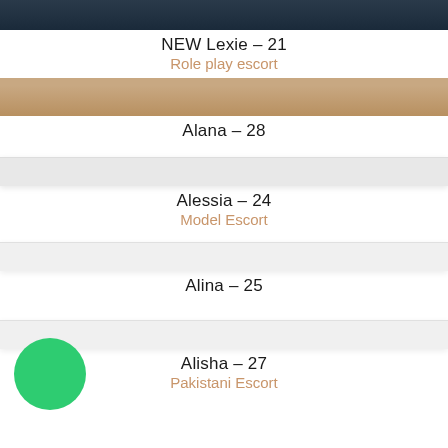[Figure (photo): Top photo strip showing dark background (partial photo of person)]
NEW Lexie – 21
Role play escort
[Figure (photo): Photo strip with warm tan/skin tone background (partial photo of Alana)]
Alana – 28
[Figure (photo): Light grey placeholder strip for Alessia]
Alessia – 24
Model Escort
[Figure (photo): Light grey placeholder strip for Alina]
Alina – 25
[Figure (photo): Alisha entry with green availability dot]
Alisha – 27
Pakistani Escort